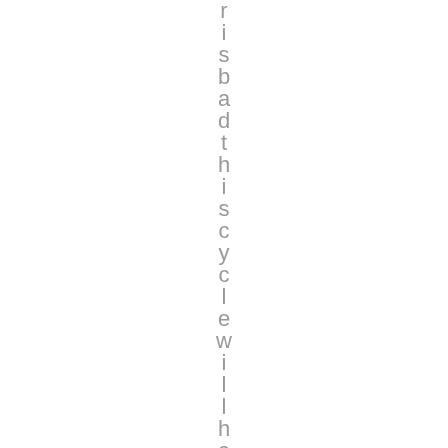r i s b a d t h i s c y c l e w i l l h a p p e n